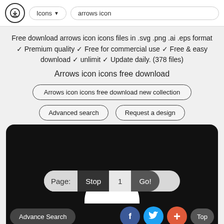[Figure (screenshot): Top navigation bar with download icon, Icons dropdown, and arrows icon search input]
Free download arrows icon icons files in .svg .png .ai .eps format ✓ Premium quality ✓ Free for commercial use ✓ Free & easy download ✓ unlimit ✓ Update daily. (378 files)
Arrows icon icons free download
Arrows icon icons free download new collection
Advanced search
Request a design
[Figure (screenshot): Black content area with white arch shape, pagination bar showing Page: Stop 1 Go!, and bottom bar with Advance Search, Facebook, Twitter, plus and Top buttons]